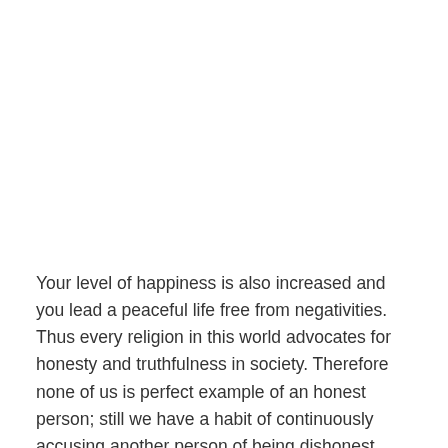Your level of happiness is also increased and you lead a peaceful life free from negativities. Thus every religion in this world advocates for honesty and truthfulness in society. Therefore none of us is perfect example of an honest person; still we have a habit of continuously accusing another person of being dishonest.
Examples of honesty in life